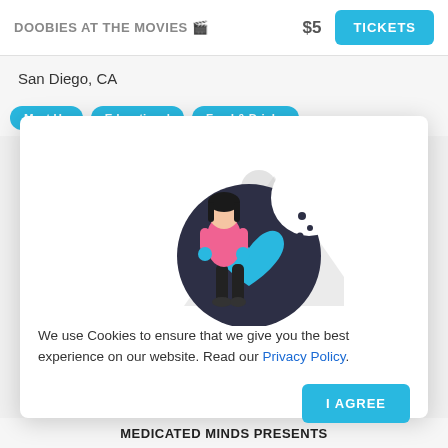DOOBIES AT THE MOVIES 🎬  $5
San Diego, CA
Meet Up
Educational
Food & Drinks
[Figure (illustration): Cookie consent illustration showing a woman with dark hair in pink top and black pants standing next to a large dark circle with a blue heart on it, with grey triangle shapes in the background]
We use Cookies to ensure that we give you the best experience on our website. Read our Privacy Policy.
I AGREE
MEDICATED MINDS PRESENTS